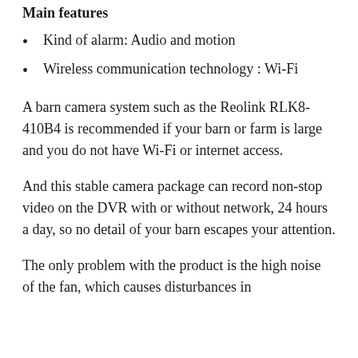Main features
Kind of alarm: Audio and motion
Wireless communication technology : Wi-Fi
A barn camera system such as the Reolink RLK8-410B4 is recommended if your barn or farm is large and you do not have Wi-Fi or internet access.
And this stable camera package can record non-stop video on the DVR with or without network, 24 hours a day, so no detail of your barn escapes your attention.
The only problem with the product is the high noise of the fan, which causes disturbances in